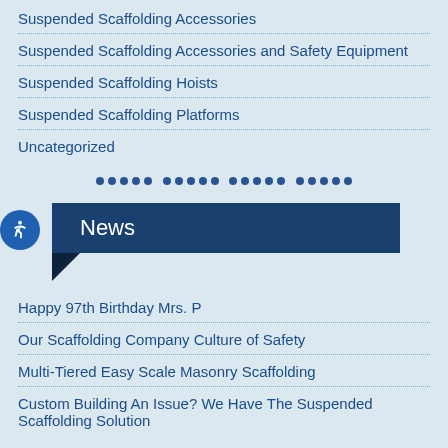Suspended Scaffolding Accessories
Suspended Scaffolding Accessories and Safety Equipment
Suspended Scaffolding Hoists
Suspended Scaffolding Platforms
Uncategorized
News
Happy 97th Birthday Mrs. P
Our Scaffolding Company Culture of Safety
Multi-Tiered Easy Scale Masonry Scaffolding
Custom Building An Issue? We Have The Suspended Scaffolding Solution